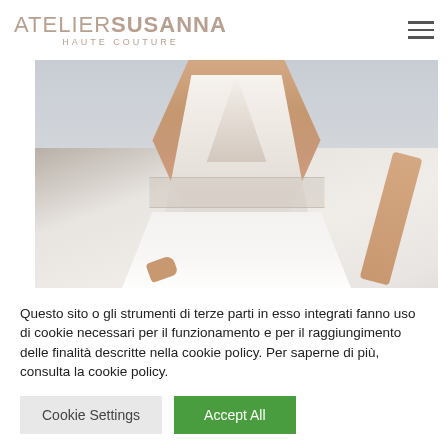ATELIER SUSANNA HAUTE COUTURE
[Figure (photo): A woman wearing a white lace and chiffon wedding dress, V-neckline with lace bodice and flowing skirt, standing outdoors with sandy background]
Questo sito o gli strumenti di terze parti in esso integrati fanno uso di cookie necessari per il funzionamento e per il raggiungimento delle finalità descritte nella cookie policy. Per saperne di più, consulta la cookie policy.